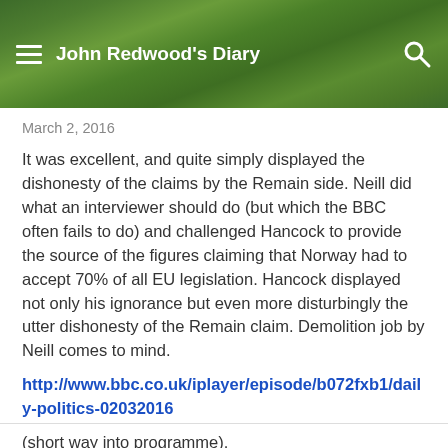John Redwood's Diary
March 2, 2016
It was excellent, and quite simply displayed the dishonesty of the claims by the Remain side. Neill did what an interviewer should do (but which the BBC often fails to do) and challenged Hancock to provide the source of the figures claiming that Norway had to accept 70% of all EU legislation. Hancock displayed not only his ignorance but even more disturbingly the utter dishonesty of the Remain claim. Demolition job by Neill comes to mind.
http://www.bbc.co.uk/iplayer/episode/b072fxb1/daily-politics-02032016
(short way into programme).